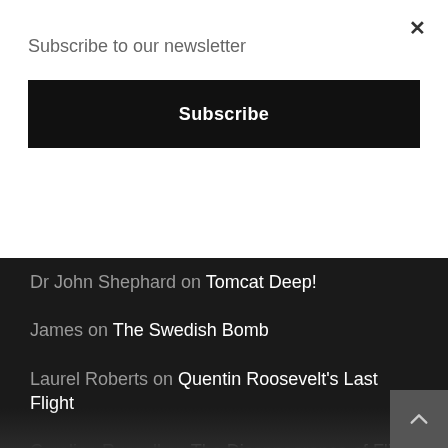Subscribe to our newsletter
Subscribe
Dr John Shephard on Tomcat Deep!
James on The Swedish Bomb
Laurel Roberts on Quentin Roosevelt's Last Flight
Caroline Russell on The Disappearance of Flight 19